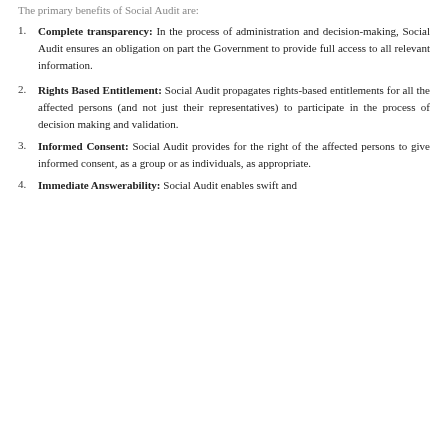The primary benefits of Social Audit are:
Complete transparency: In the process of administration and decision-making, Social Audit ensures an obligation on part the Government to provide full access to all relevant information.
Rights Based Entitlement: Social Audit propagates rights-based entitlements for all the affected persons (and not just their representatives) to participate in the process of decision making and validation.
Informed Consent: Social Audit provides for the right of the affected persons to give informed consent, as a group or as individuals, as appropriate.
Immediate Answerability: Social Audit enables swift and